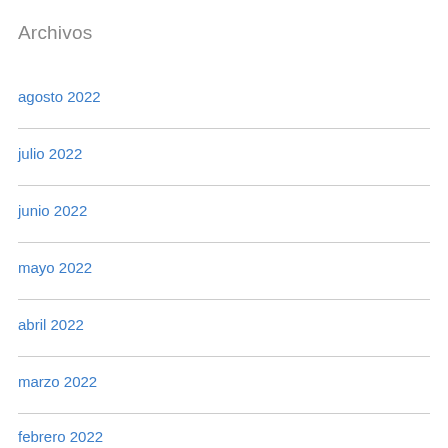Archivos
agosto 2022
julio 2022
junio 2022
mayo 2022
abril 2022
marzo 2022
febrero 2022